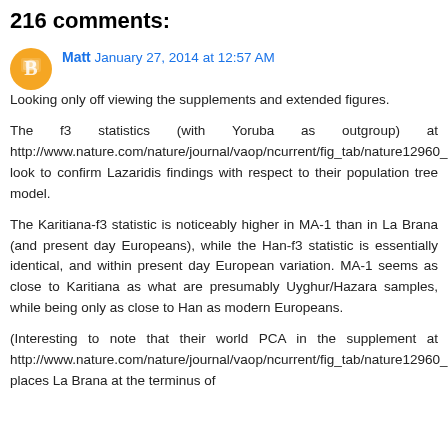216 comments:
Matt  January 27, 2014 at 12:57 AM
Looking only off viewing the supplements and extended figures.

The f3 statistics (with Yoruba as outgroup) at http://www.nature.com/nature/journal/vaop/ncurrent/fig_tab/nature12960_SF5.html look to confirm Lazaridis findings with respect to their population tree model.

The Karitiana-f3 statistic is noticeably higher in MA-1 than in La Brana (and present day Europeans), while the Han-f3 statistic is essentially identical, and within present day European variation. MA-1 seems as close to Karitiana as what are presumably Uyghur/Hazara samples, while being only as close to Han as modern Europeans.

(Interesting to note that their world PCA in the supplement at http://www.nature.com/nature/journal/vaop/ncurrent/fig_tab/nature12960_SF3.html places La Brana at the terminus of